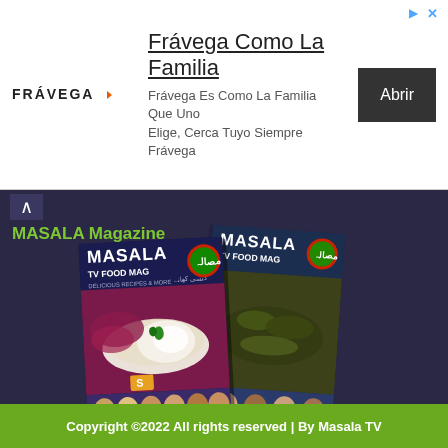[Figure (infographic): Advertisement banner for Frávega with logo, headline 'Frávega Como La Familia', subtext, and Abrir button]
MASALA Magazine
[Figure (photo): Two MASALA TV Food Magazine book covers displayed side by side at an angle, showing food photography and Urdu text on their covers]
Copyright ©2022 All rights reserved | By Masala TV